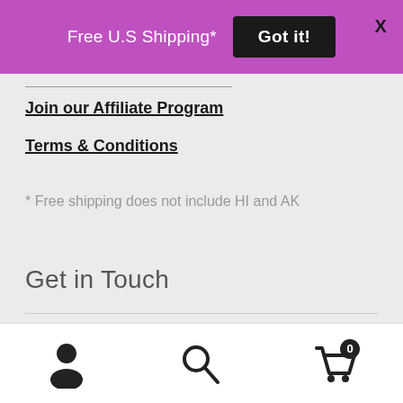[Figure (screenshot): Purple promotional banner with text 'Free U.S Shipping*', a black 'Got it!' button, and a close X button]
Join our Affiliate Program
Terms & Conditions
* Free shipping does not include HI and AK
Get in Touch
info@venuscup.com
Contact us form
[Figure (screenshot): Bottom navigation bar with user/account icon, search icon, and cart icon with badge showing 0]